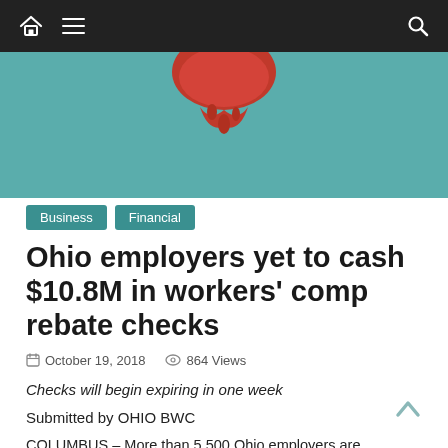Navigation bar with home, menu, and search icons
[Figure (illustration): Hero image with teal/blue-green background and partial view of a red illustrated element (piggy bank or money bag) at the top]
Business   Financial
Ohio employers yet to cash $10.8M in workers' comp rebate checks
October 19, 2018   864 Views
Checks will begin expiring in one week
Submitted by OHIO BWC
COLUMBUS – More than 5,500 Ohio employers are